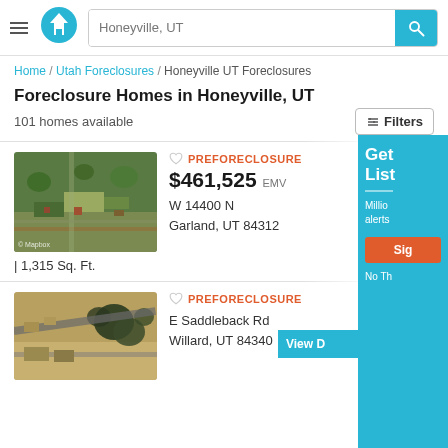Honeyville, UT [search bar with logo]
Home / Utah Foreclosures / Honeyville UT Foreclosures
Foreclosure Homes in Honeyville, UT
101 homes available
[Figure (screenshot): Satellite aerial view of property at W 14400 N, Garland, UT]
PREFORECLOSURE
$461,525 EMV
W 14400 N
Garland, UT 84312
| 1,315 Sq. Ft.
[Figure (screenshot): Satellite aerial view of property at E Saddleback Rd, Willard, UT]
PREFORECLOSURE
E Saddleback Rd
Willard, UT 84340